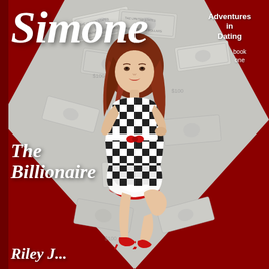[Figure (illustration): Book cover for 'Simone: Adventures in Dating, Book One – The Billionaire' by Riley. Red background with a diamond/arrow-shaped light area filled with US dollar bills. A red-haired woman in a black-and-white checkered strapless dress with red high heels sits posing on the money. Large italic white script title 'Simone' at top, subtitle 'Adventures in Dating book one' top right, 'The Billionaire' in italic white lower left, author name 'Riley' at bottom left.]
Simone
Adventures in Dating book one
The Billionaire
Riley